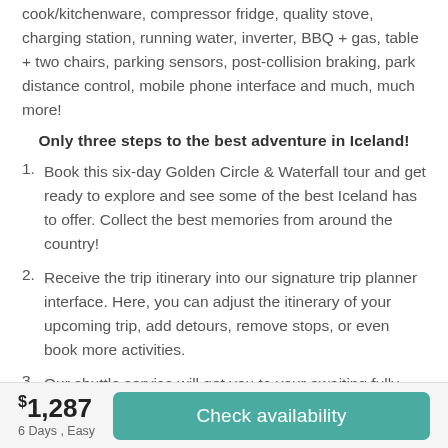cook/kitchenware, compressor fridge, quality stove, charging station, running water, inverter, BBQ + gas, table + two chairs, parking sensors, post-collision braking, park distance control, mobile phone interface and much, much more!
Only three steps to the best adventure in Iceland!
Book this six-day Golden Circle & Waterfall tour and get ready to explore and see some of the best Iceland has to offer. Collect the best memories from around the country!
Receive the trip itinerary into our signature trip planner interface. Here, you can adjust the itinerary of your upcoming trip, add detours, remove stops, or even book more activities.
Our shuttle service will get you to your awaiting fully equipped camper – load your trip's itinerary on the Easy Guide tablet and follow the roads to your most incredible
$1,287
6 Days , Easy
Check availability